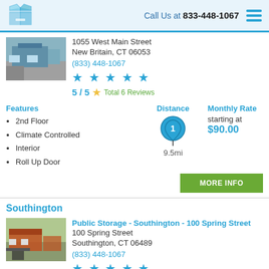Call Us at 833-448-1067
1055 West Main Street
New Britain, CT 06053
(833) 448-1067
5 / 5
Total 6 Reviews
Features: 2nd Floor, Climate Controlled, Interior, Roll Up Door
Distance: 9.5mi
Monthly Rate starting at $90.00
Southington
Public Storage - Southington - 100 Spring Street
100 Spring Street
Southington, CT 06489
(833) 448-1067
5 / 5
Total 41 Reviews